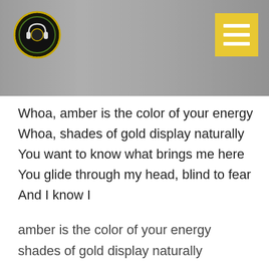[Figure (screenshot): Website header with gray-tone record player background, circular music logo on left, yellow menu button with three white horizontal lines on right]
Whoa, amber is the color of your energy
Whoa, shades of gold display naturally
You want to know what brings me here
You glide through my head, blind to fear
And I know I
amber is the color of your energy
shades of gold display naturally
Whoa, amber is the color of your energy
Whoa, shades of gold display naturally
You live too far away